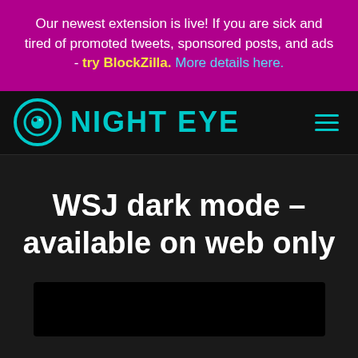Our newest extension is live! If you are sick and tired of promoted tweets, sponsored posts, and ads - try BlockZilla. More details here.
[Figure (logo): Night Eye logo with teal eye icon and NIGHT EYE text, navigation bar with hamburger menu on dark background]
WSJ dark mode – available on web only
[Figure (screenshot): Black rectangle representing a video thumbnail or screenshot area]